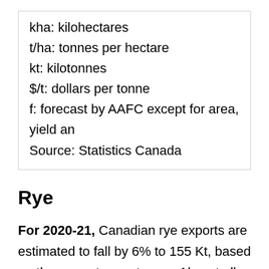kha: kilohectares
t/ha: tonnes per hectare
kt: kilotonnes
$/t: dollars per tonne
f: forecast by AAFC except for area, yield an
Source: Statistics Canada
Rye
For 2020-21, Canadian rye exports are estimated to fall by 6% to 155 Kt, based on the current export pace. Almost all the exports are shipped to the US. STC reported that Canadian rye exports for the first eight months of the current crop year